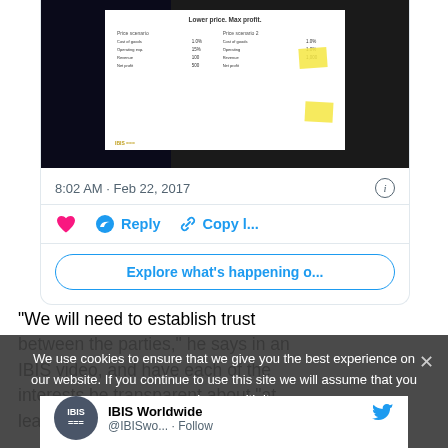[Figure (screenshot): Screenshot of a tweet card showing a presentation slide photo taken at an IBIS event with sticky notes, dated 8:02 AM Feb 22, 2017, with Reply, Copy link, and Explore buttons]
“We will need to establish trust between the parties,” he says in an IBIS video, and have each of the interests be transparent about “at least some p
We use cookies to ensure that we give you the best experience on our website. If you continue to use this site we will assume that you are happy with it.
[Figure (screenshot): IBIS Worldwide @IBISwo... Follow tweet embed at bottom of page]